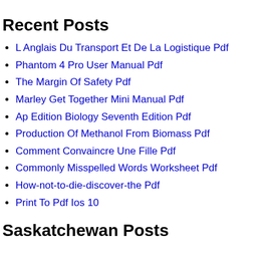Recent Posts
L Anglais Du Transport Et De La Logistique Pdf
Phantom 4 Pro User Manual Pdf
The Margin Of Safety Pdf
Marley Get Together Mini Manual Pdf
Ap Edition Biology Seventh Edition Pdf
Production Of Methanol From Biomass Pdf
Comment Convaincre Une Fille Pdf
Commonly Misspelled Words Worksheet Pdf
How-not-to-die-discover-the Pdf
Print To Pdf Ios 10
Saskatchewan Posts